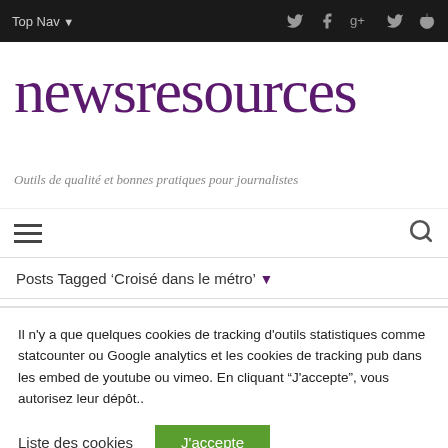Top Nav ▾  [twitter] [facebook] [google+] [twitter] [power]
newsresources
Outils de qualité et bonnes pratiques pour journalistes
Posts Tagged 'Croisé dans le métro' ▾
Il n'y a que quelques cookies de tracking d'outils statistiques comme statcounter ou Google analytics et les cookies de tracking pub dans les embed de youtube ou vimeo. En cliquant "J'accepte", vous autorisez leur dépôt..
Liste des cookies
J'accepte